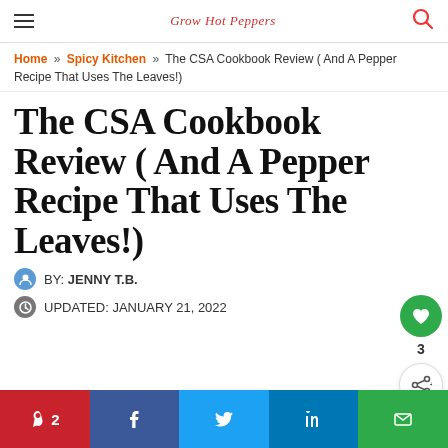Grow Hot Peppers
Home » Spicy Kitchen » The CSA Cookbook Review ( And A Pepper Recipe That Uses The Leaves!)
The CSA Cookbook Review ( And A Pepper Recipe That Uses The Leaves!)
BY: JENNY T.B.
UPDATED: JANUARY 21, 2022